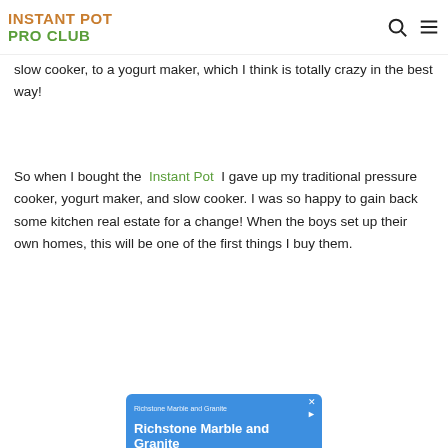INSTANT POT PRO CLUB
slow cooker, to a yogurt maker, which I think is totally crazy in the best way!
So when I bought the Instant Pot I gave up my traditional pressure cooker, yogurt maker, and slow cooker. I was so happy to gain back some kitchen real estate for a change! When the boys set up their own homes, this will be one of the first things I buy them.
[Figure (screenshot): Advertisement for Richstone Marble and Granite on a blue background. Text reads: 'Richstone Marble and Granite' and 'We Have a Team of Experienced Fabricators, Designers and Granite Countertop Installers.']
[Figure (screenshot): Advertisement for Petco with checkmarks listing: In-store shopping, Curbside pickup. Shows Petco logo and a blue directional arrow icon.]